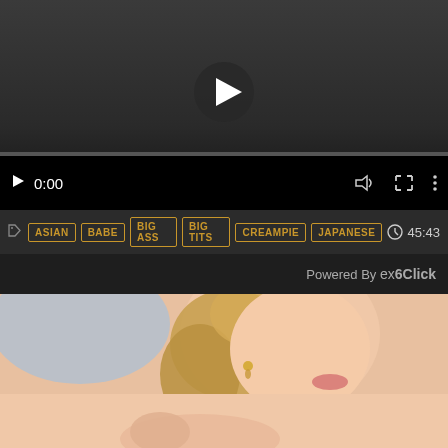[Figure (screenshot): Video player interface with dark background, large centered play button, playback controls showing 0:00 timestamp, volume, fullscreen and menu icons, and a progress bar at the bottom]
ASIAN  BABE  BIG ASS  BIG TITS  CREAMPIE  JAPANESE  45:43
Powered By exoClick
[Figure (photo): Close-up photo of a woman with curly blonde hair and gold earring, lip visible, peach/skin tones dominate the frame]